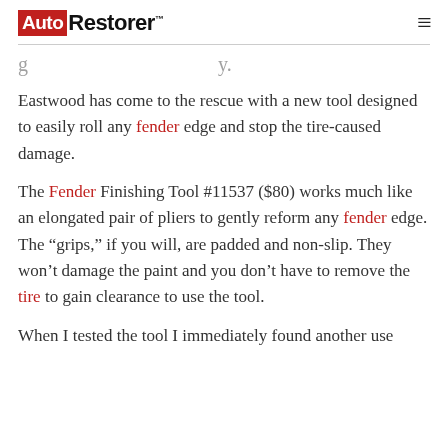Auto Restorer
…g…y.
Eastwood has come to the rescue with a new tool designed to easily roll any fender edge and stop the tire-caused damage.
The Fender Finishing Tool #11537 ($80) works much like an elongated pair of pliers to gently reform any fender edge. The “grips,” if you will, are padded and non-slip. They won’t damage the paint and you don’t have to remove the tire to gain clearance to use the tool.
When I tested the tool I immediately found another use